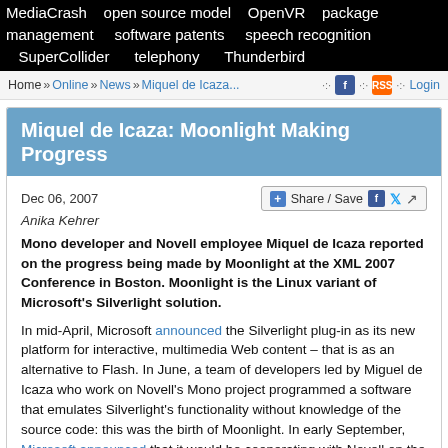MediaCrash   open source model   OpenVR   package management   software patents   speech recognition   SuperCollider   telephony   Thunderbird
Home » Online » News » Miquel de Icaza...   Login
Miquel de Icaza: Moonlight Making Progress
Dec 06, 2007
Anika Kehrer
Mono developer and Novell employee Miquel de Icaza reported on the progress being made by Moonlight at the XML 2007 Conference in Boston. Moonlight is the Linux variant of Microsoft's Silverlight solution.
In mid-April, Microsoft announced the Silverlight plug-in as its new platform for interactive, multimedia Web content – that is as an alternative to Flash. In June, a team of developers led by Miguel de Icaza who work on Novell's Mono project programmed a software that emulates Silverlight's functionality without knowledge of the source code: this was the birth of Moonlight. In early September, Microsoft announced that it would be cooperating with Novell on the Linux implementation of Silverlight.